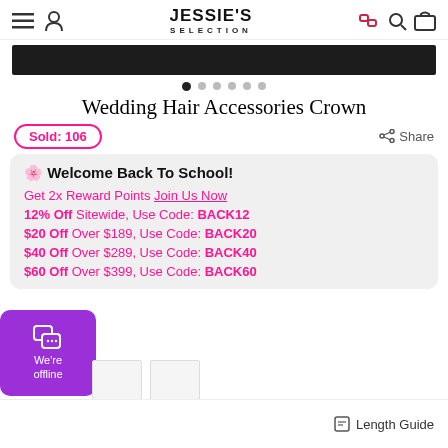JESSIE'S SELECTION
[Figure (screenshot): Dark banner image strip]
Wedding Hair Accessories Crown
Sold: 106
Share
🌸 Welcome Back To School! Get 2x Reward Points Join Us Now 12% Off Sitewide, Use Code: BACK12 $20 Off Over $189, Use Code: BACK20 $40 Off Over $289, Use Code: BACK40 $60 Off Over $399, Use Code: BACK60
We're offline
Length Guide